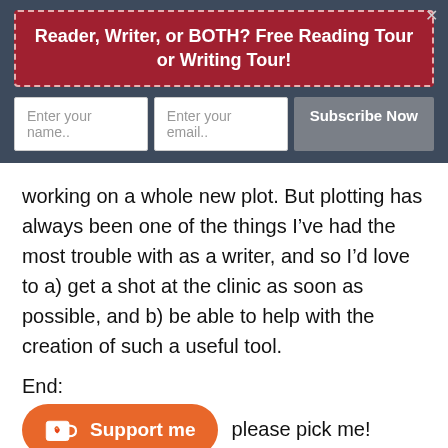Reader, Writer, or BOTH? Free Reading Tour or Writing Tour!
working on a whole new plot. But plotting has always been one of the things I’ve had the most trouble with as a writer, and so I’d love to a) get a shot at the clinic as soon as possible, and b) be able to help with the creation of such a useful tool.
End:
[Figure (other): Orange Ko-fi Support me button with cup icon]
please pick me!